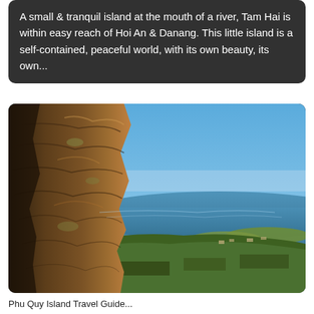A small & tranquil island at the mouth of a river, Tam Hai is within easy reach of Hoi An & Danang. This little island is a self-contained, peaceful world, with its own beauty, its own...
[Figure (photo): Landscape photo showing a large rocky cliff formation in the foreground on the left, with a sweeping coastal view behind it. The background shows a calm blue sea, a coastal village with green vegetation, flat agricultural fields, and a clear blue sky. The scene appears to be from an elevated viewpoint on a Vietnamese island.]
Phu Quy Island Travel Guide...